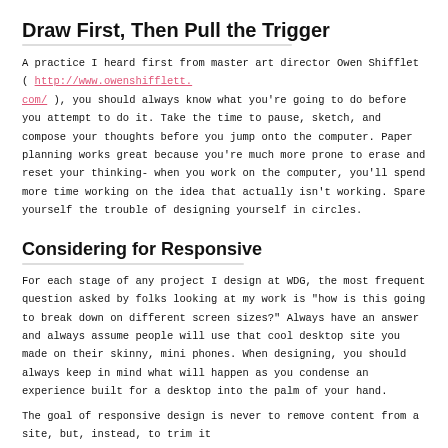Draw First, Then Pull the Trigger
A practice I heard first from master art director Owen Shifflet ( http://www.owenshifflett.com/ ), you should always know what you’re going to do before you attempt to do it. Take the time to pause, sketch, and compose your thoughts before you jump onto the computer. Paper planning works great because you’re much more prone to erase and reset your thinking- when you work on the computer, you’ll spend more time working on the idea that actually isn’t working. Spare yourself the trouble of designing yourself in circles.
Considering for Responsive
For each stage of any project I design at WDG, the most frequent question asked by folks looking at my work is “how is this going to break down on different screen sizes?” Always have an answer and always assume people will use that cool desktop site you made on their skinny, mini phones. When designing, you should always keep in mind what will happen as you condense an experience built for a desktop into the palm of your hand.
The goal of responsive design is never to remove content from a site, but, instead, to trim it